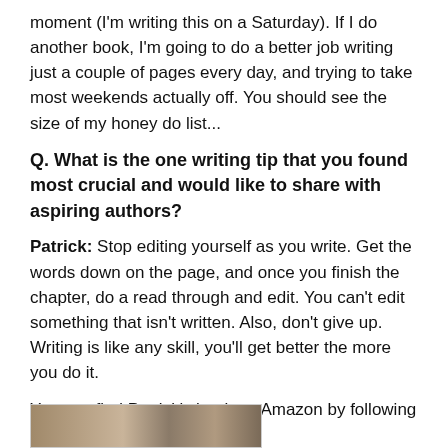moment (I'm writing this on a Saturday). If I do another book, I'm going to do a better job writing just a couple of pages every day, and trying to take most weekends actually off. You should see the size of my honey do list...
Q. What is the one writing tip that you found most crucial and would like to share with aspiring authors?
Patrick: Stop editing yourself as you write. Get the words down on the page, and once you finish the chapter, do a read through and edit. You can't edit something that isn't written. Also, don't give up. Writing is like any skill, you'll get better the more you do it.
You can find Patrick's book on Amazon by following this link: Please click here.
[Figure (photo): Bottom strip of a photo partially visible at the bottom of the page]